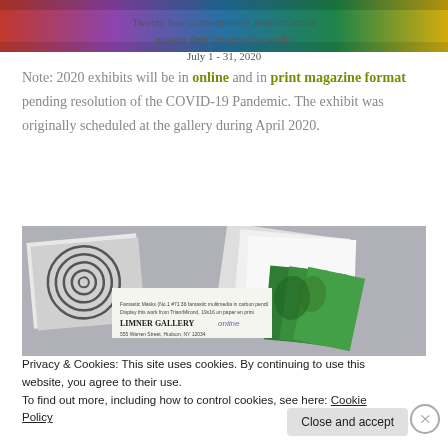[Figure (photo): Top colorful banner image of abstract art]
Twenty four contemporary abstract artists present their interpretive works
July 1 - 31, 2020
Note: 2020 exhibits will be in online and in print magazine format pending resolution of the COVID-19 Pandemic. The exhibit was originally scheduled at the gallery during April 2020.
[Figure (photo): Photo of Limner Gallery printed materials including artwork prints and gallery cards showing abstract art]
Privacy & Cookies: This site uses cookies. By continuing to use this website, you agree to their use.
To find out more, including how to control cookies, see here: Cookie Policy